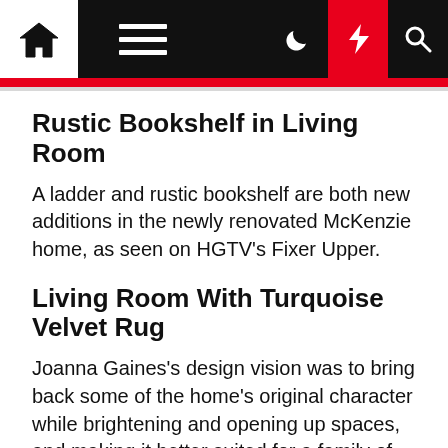Navigation bar with home, menu, dark mode, lightning, and search icons
Rustic Bookshelf in Living Room
A ladder and rustic bookshelf are both new additions in the newly renovated McKenzie home, as seen on HGTV's Fixer Upper.
Living Room With Turquoise Velvet Rug
Joanna Gaines's design vision was to bring back some of the home's original character while brightening and opening up spaces, and making it better suited for a family of five.
Living Room With Leather Sofa and Marble Fireplace
The living area was radically transformed by taking out walls, raising the ceiling and adding rich...